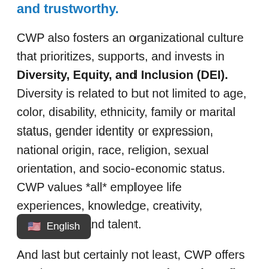and trustworthy.
CWP also fosters an organizational culture that prioritizes, supports, and invests in Diversity, Equity, and Inclusion (DEI). Diversity is related to but not limited to age, color, disability, ethnicity, family or marital status, gender identity or expression, national origin, race, religion, sexual orientation, and socio-economic status. CWP values *all* employee life experiences, knowledge, creativity, uniqueness, and talent.
And last but certainly not least, CWP offers employees a generous employee benefits package, including Medical*, Health Savings Account, Dental, Vision, Term Life, Accidental Death & Dismemberment, Short-Term Disability, Long-Term Disability, Voluntary Critical Illness and Accident,